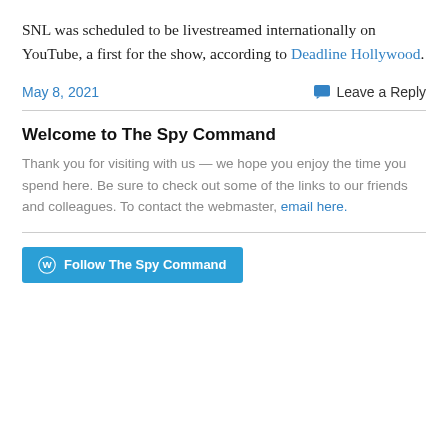SNL was scheduled to be livestreamed internationally on YouTube, a first for the show, according to Deadline Hollywood.
May 8, 2021   💬 Leave a Reply
Welcome to The Spy Command
Thank you for visiting with us — we hope you enjoy the time you spend here. Be sure to check out some of the links to our friends and colleagues. To contact the webmaster, email here.
Follow The Spy Command